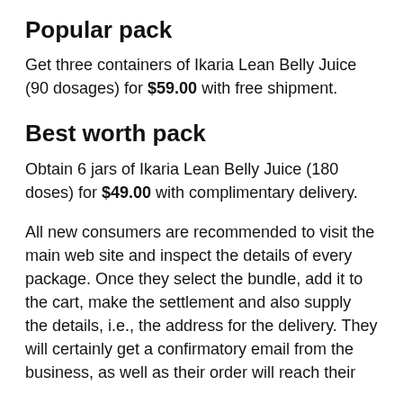Popular pack
Get three containers of Ikaria Lean Belly Juice (90 dosages) for $59.00 with free shipment.
Best worth pack
Obtain 6 jars of Ikaria Lean Belly Juice (180 doses) for $49.00 with complimentary delivery.
All new consumers are recommended to visit the main web site and inspect the details of every package. Once they select the bundle, add it to the cart, make the settlement and also supply the details, i.e., the address for the delivery. They will certainly get a confirmatory email from the business, as well as their order will reach their